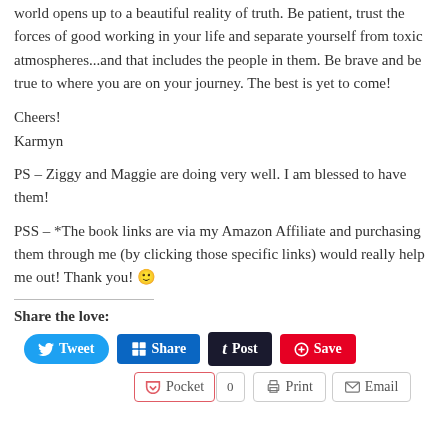world opens up to a beautiful reality of truth. Be patient, trust the forces of good working in your life and separate yourself from toxic atmospheres...and that includes the people in them. Be brave and be true to where you are on your journey. The best is yet to come!
Cheers!
Karmyn
PS – Ziggy and Maggie are doing very well. I am blessed to have them!
PSS – *The book links are via my Amazon Affiliate and purchasing them through me (by clicking those specific links) would really help me out! Thank you! 🙂
Share the love:
[Figure (infographic): Social share buttons: Tweet (blue, rounded), Share (LinkedIn blue), Post (dark navy), Save (Pinterest red), Pocket (white with red border), 0 count, Print, Email]